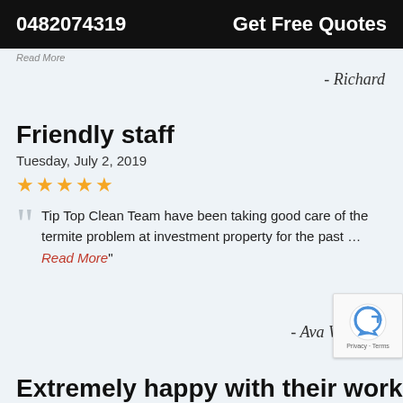0482074319   Get Free Quotes
Read More
- Richard
Friendly staff
Tuesday, July 2, 2019
★★★★★
"Tip Top Clean Team have been taking good care of the termite problem at investment property for the past … Read More"
- Ava Williams
Extremely happy with their work